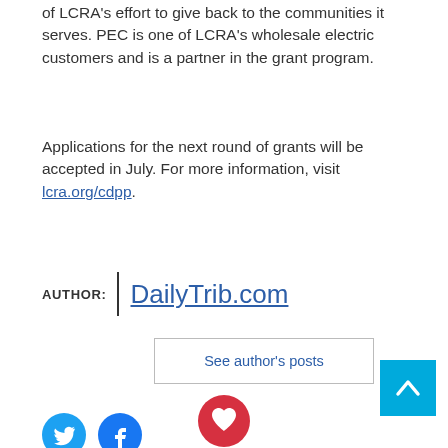of LCRA's effort to give back to the communities it serves. PEC is one of LCRA's wholesale electric customers and is a partner in the grant program.
Applications for the next round of grants will be accepted in July. For more information, visit lcra.org/cdpp.
AUTHOR: DailyTrib.com
See author's posts
[Figure (illustration): Red circular button with a white heart icon]
[Figure (illustration): Cyan/blue square scroll-to-top button with white upward chevron arrow]
[Figure (illustration): Twitter and Facebook social media icon buttons (blue circles with white logos)]